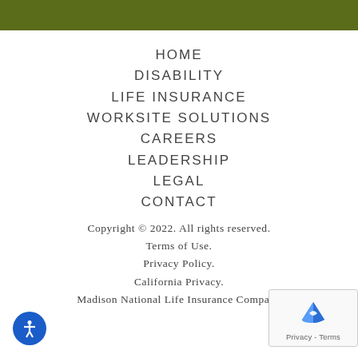HOME
DISABILITY
LIFE INSURANCE
WORKSITE SOLUTIONS
CAREERS
LEADERSHIP
LEGAL
CONTACT
Copyright © 2022. All rights reserved.
Terms of Use.
Privacy Policy.
California Privacy.
Madison National Life Insurance Company